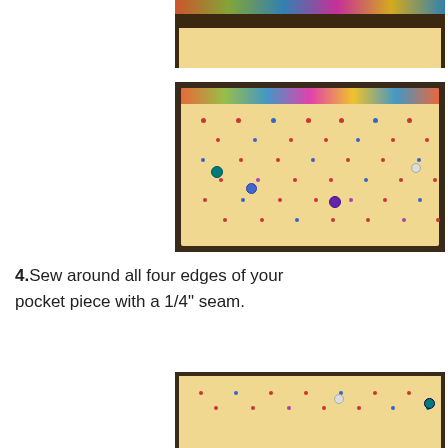[Figure (photo): Partial top photo of fabric with colorful patterned strip at top, yellow polka-dot fabric visible at bottom edge, dark background.]
[Figure (photo): Yellow polka-dot fabric piece with sewing pins, laid flat on dark brown surface. Fabric has small colored dots in red, blue, purple, and is held with several colored quilting pins.]
4.Sew around all four edges of your pocket piece with a 1/4" seam.
[Figure (photo): Partial bottom photo showing yellow polka-dot fabric piece on dark surface with pins visible.]